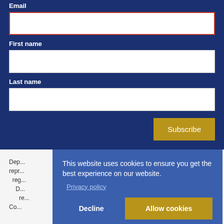Email
First name
Last name
Subscribe
This website uses cookies to ensure you get the best experience on our website.
Privacy policy
Decline
Allow cookies
Dep... repr... reg... D... re... Co...
House, 396 Wilmslow Road, Withington, Manchester